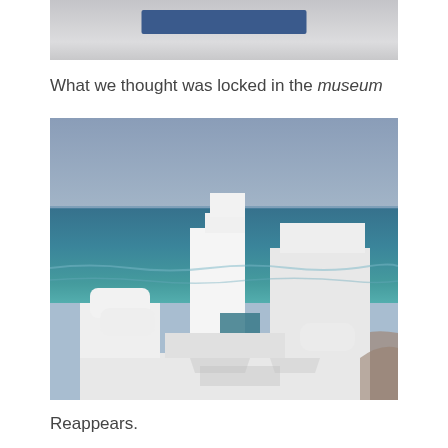[Figure (photo): Partially visible top portion of an image, showing what appears to be a blue rectangular bar or sign against a light gray background.]
What we thought was locked in the museum
[Figure (photo): Photograph of a white geometric sculpture made of interlocking cubic and cylindrical forms, placed outdoors against a backdrop of blue ocean water and a pale gray-blue sky. The sculpture resembles stacked pixel-like blocks.]
Reappears.